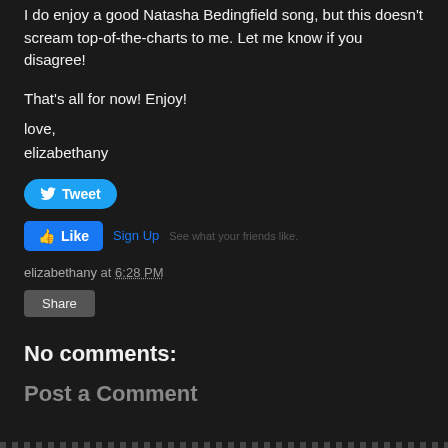I do enjoy a good Natasha Bedingfield song, but this doesn't scream top-of-the-charts to me. Let me know if you disagree!
That's all for now! Enjoy!
love,
elizabethany
[Figure (screenshot): Twitter Tweet button (blue rounded) and Facebook Like button with Sign Up link]
elizabethany at 6:28 PM
[Figure (screenshot): Share button (grey rounded rectangle)]
No comments:
Post a Comment